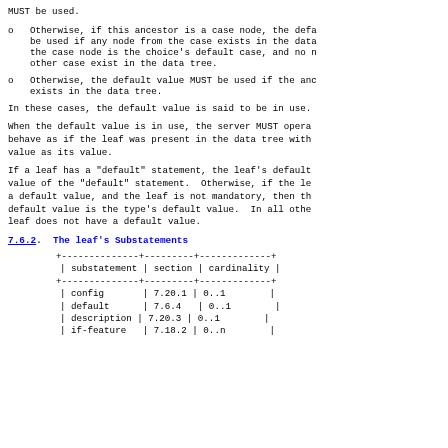MUST be used.
Otherwise, if this ancestor is a case node, the default value MUST be used if any node from the case exists in the data tree, or the case node is the choice's default case, and no node from any other case exist in the data tree.
Otherwise, the default value MUST be used if the ancestor node exists in the data tree.
In these cases, the default value is said to be in use.
When the default value is in use, the server MUST operate as if it would behave as if the leaf was present in the data tree with the default value as its value.
If a leaf has a "default" statement, the leaf's default value is the value of the "default" statement. Otherwise, if the leaf's type has a default value, and the leaf is not mandatory, then the leaf's default value is the type's default value. In all other cases, the leaf does not have a default value.
7.6.2. The leaf's Substatements
| substatement | section | cardinality |
| --- | --- | --- |
| config | 7.20.1 | 0..1 |
| default | 7.6.4 | 0..1 |
| description | 7.20.3 | 0..1 |
| if-feature | 7.18.2 | 0..n |